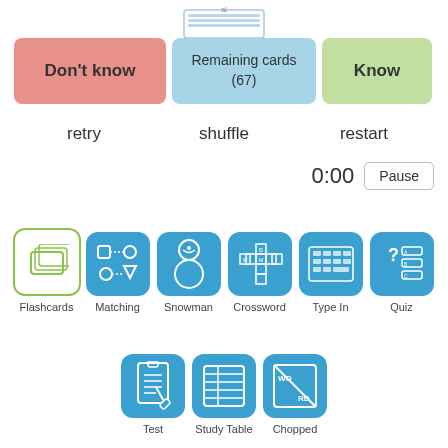[Figure (screenshot): Flashcard study interface showing Don't know, Remaining cards (67), and Know buttons with card stack visible]
retry
shuffle
restart
0:00
Pause
Flashcards
Matching
Snowman
Crossword
Type In
Quiz
Test
Study Table
Chopped